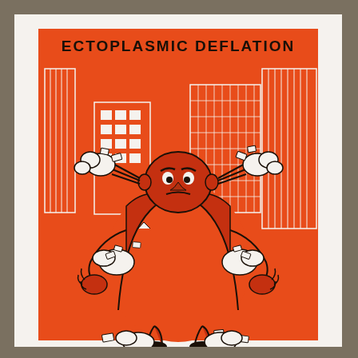[Figure (illustration): A vintage-style letterpress or screen-print illustration titled 'ECTOPLASMIC DEFLATION'. The image shows a large, rotund angry man in an orange suit with steam/smoke shooting from his ears and money bills flying away from him. Behind him is an orange cityscape with tall buildings. The color palette is two-tone: orange/red-orange and black on a cream/white background. The title text 'ECTOPLASMIC DEFLATION' is printed in bold black letters at the top of the orange background panel.]